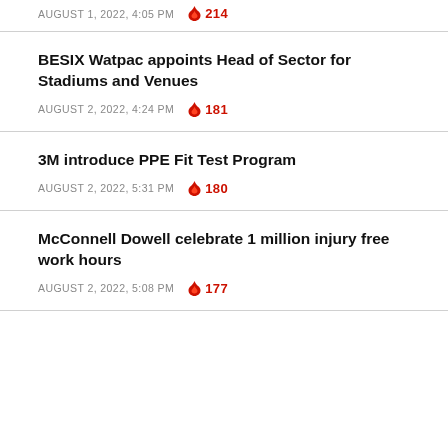AUGUST 1, 2022, 4:05 PM  🔥 214
BESIX Watpac appoints Head of Sector for Stadiums and Venues
AUGUST 2, 2022, 4:24 PM  🔥 181
3M introduce PPE Fit Test Program
AUGUST 2, 2022, 5:31 PM  🔥 180
McConnell Dowell celebrate 1 million injury free work hours
AUGUST 2, 2022, 5:08 PM  🔥 177